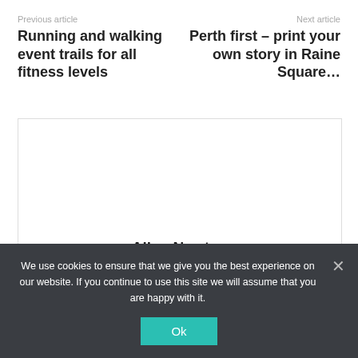Previous article
Running and walking event trails for all fitness levels
Next article
Perth first – print your own story in Raine Square…
[Figure (photo): Author profile image placeholder (white/blank area inside a bordered card)]
Allen Newton
Journalist and public relations specialist Allen Newton has worked
We use cookies to ensure that we give you the best experience on our website. If you continue to use this site we will assume that you are happy with it.